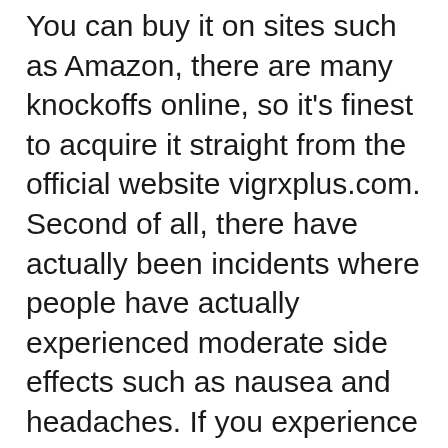You can buy it on sites such as Amazon, there are many knockoffs online, so it's finest to acquire it straight from the official website vigrxplus.com. Second of all, there have actually been incidents where people have actually experienced moderate side effects such as nausea and headaches. If you experience any negative effects, you must stop usage right away and consult your medical professional.
A single bottle of VigRx Plus costs close to $70.00 for a single bottle. For that reason, I recommend acquiring the six-month or twelve-month supply. In doing so, you get a complimentary month of VigRX nitric assistance, as well as totally free